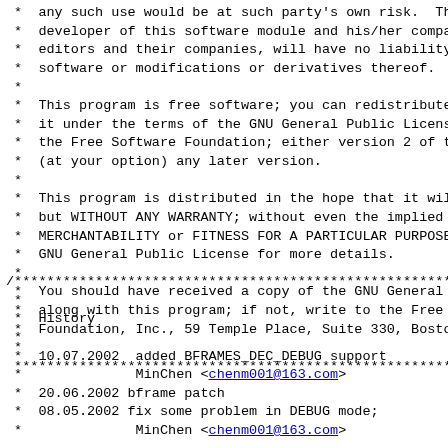*  any such use would be at such party's own risk.  The
 *  developer of this software module and his/her company
 *  editors and their companies, will have no liability f
 *  software or modifications or derivatives thereof.
 *
 *  This program is free software; you can redistribute
 *  it under the terms of the GNU General Public License
 *  the Free Software Foundation; either version 2 of the
 *  (at your option) any later version.
 *
 *  This program is distributed in the hope that it will
 *  but WITHOUT ANY WARRANTY; without even the implied wa
 *  MERCHANTABILITY or FITNESS FOR A PARTICULAR PURPOSE.
 *  GNU General Public License for more details.
 *
 *  You should have received a copy of the GNU General Pu
 *  along with this program; if not, write to the Free So
 *  Foundation, Inc., 59 Temple Place, Suite 330, Boston,
 *
 ************************************************************
/***********************************************************
 *
 *  History
 *
 *  10.07.2002  added BFRAMES_DEC_DEBUG support
 *              MinChen <chenm001@163.com>
 *  20.06.2002 bframe patch
 *  08.05.2002 fix some problem in DEBUG mode;
 *              MinChen <chenm001@163.com>